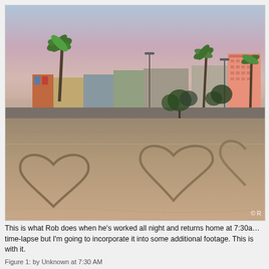[Figure (photo): A beach scene at dusk showing large heart shapes drawn in the sand in the foreground. In the background, coastal buildings including a pink high-rise hotel, palm trees, and streetlights are visible against a pinkish-blue sky. A copyright watermark '© R' appears in the bottom right corner of the photo.]
This is what Rob does when he's worked all night and returns home at 7:30am time-lapse but I'm going to incorporate it into some additional footage. This is with it.
Figure 1: by Unknown at 7:30 AM